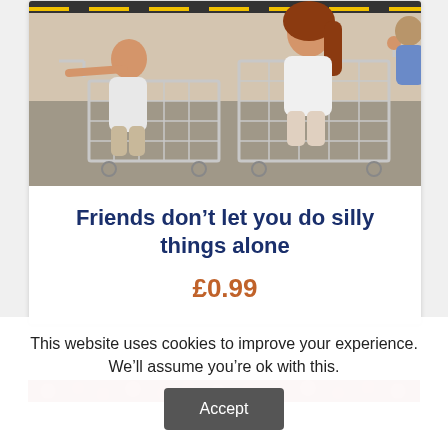[Figure (photo): Two young women sitting in shopping carts outdoors on a road, one with red/auburn hair, appearing playful and happy. Urban background.]
Friends don’t let you do silly things alone
£0.99
[Figure (photo): Partial strip of a floral/colourful image, cropped at bottom of page.]
This website uses cookies to improve your experience. We’ll assume you’re ok with this.
Accept